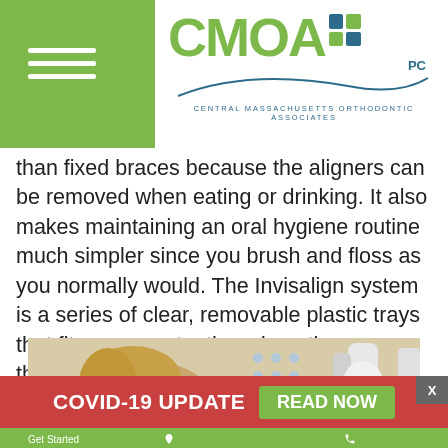CMOA PC — Central Massachusetts Orthodontic Associates
than fixed braces because the aligners can be removed when eating or drinking. It also makes maintaining an oral hygiene routine much simpler since you brush and floss as you normally would. The Invisalign system is a series of clear, removable plastic trays that fit over your teeth and gently move them into the desired positions over time. These customized aligners are replaced with the next in the series every 1-2 weeks to keep up with the movement of your teeth.
[Figure (photo): Photo of a person at a dental/orthodontic office, side view of head near equipment]
COVID-19 UPDATE  READ NOW
Get Started